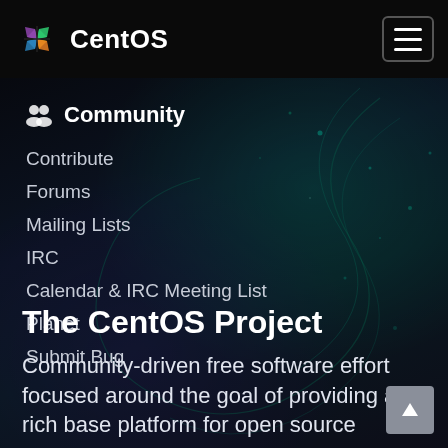CentOS
Community
Contribute
Forums
Mailing Lists
IRC
Calendar & IRC Meeting List
Planet
Submit Bug
The CentOS Project
Community-driven free software effort focused around the goal of providing a rich base platform for open source